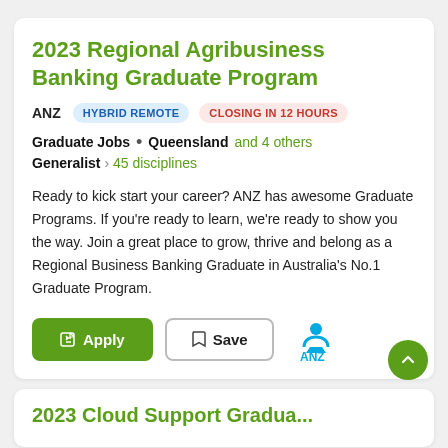2023 Regional Agribusiness Banking Graduate Program
ANZ  HYBRID REMOTE  CLOSING IN 12 HOURS
Graduate Jobs  •  Queensland and 4 others
Generalist › 45 disciplines
Ready to kick start your career? ANZ has awesome Graduate Programs. If you're ready to learn, we're ready to show you the way. Join a great place to grow, thrive and belong as a Regional Business Banking Graduate in Australia's No.1 Graduate Program.
Apply  Save
2023 Cloud Support Graduate...